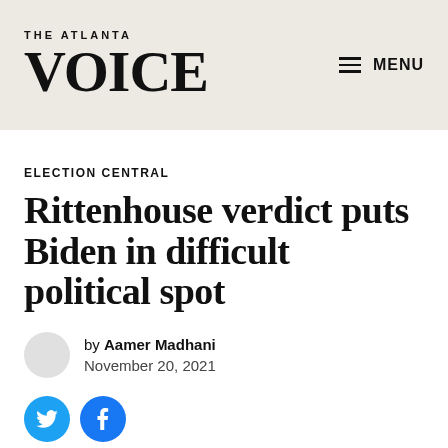THE ATLANTA VOICE | MENU
ELECTION CENTRAL
Rittenhouse verdict puts Biden in difficult political spot
by Aamer Madhani
November 20, 2021